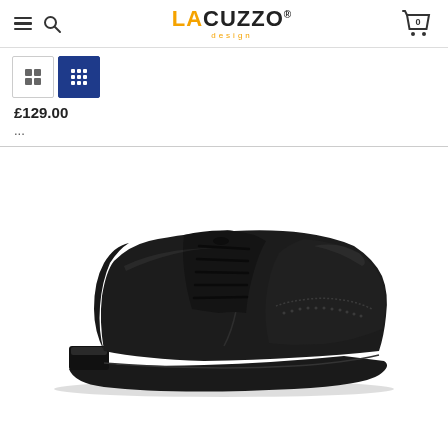Lacuzzo Design - navigation header with hamburger menu, search icon, logo, and cart (0)
[Figure (screenshot): View toggle buttons: 2x2 grid and 3x3 grid, with 3x3 grid active (blue background)]
£129.00
...
[Figure (photo): Black leather Oxford brogue shoe with cap toe, lace-up design, on a white background. Side profile view showing the full shoe from heel to toe.]